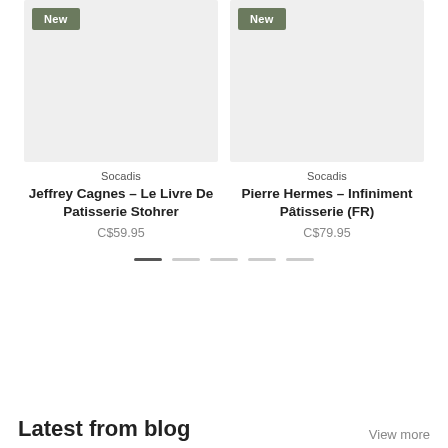[Figure (photo): Product image placeholder for Jeffrey Cagnes book, light grey rectangle with 'New' badge]
Socadis
Jeffrey Cagnes - Le Livre De Patisserie Stohrer
C$59.95
[Figure (photo): Product image placeholder for Pierre Hermes book, light grey rectangle with 'New' badge]
Socadis
Pierre Hermes - Infiniment Pâtisserie (FR)
C$79.95
Latest from blog
View more